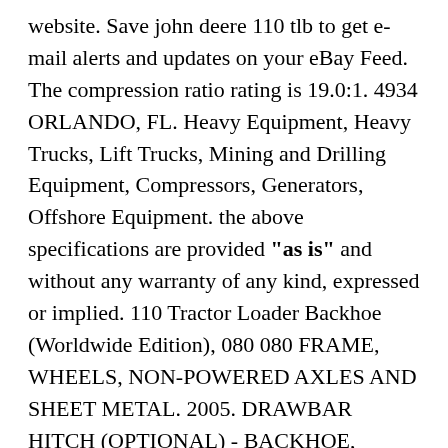website. Save john deere 110 tlb to get e-mail alerts and updates on your eBay Feed. The compression ratio rating is 19.0:1. 4934 ORLANDO, FL. Heavy Equipment, Heavy Trucks, Lift Trucks, Mining and Drilling Equipment, Compressors, Generators, Offshore Equipment. the above specifications are provided "as is" and without any warranty of any kind, expressed or implied. 110 Tractor Loader Backhoe (Worldwide Edition), 080 080 FRAME, WHEELS, NON-POWERED AXLES AND SHEET METAL. 2005. DRAWBAR HITCH (OPTIONAL) - BACKHOE, LOADER John Deere 110 - BACKHOE, LOADER - 110 Tractor Loader Backhoe (Worldwide Edition) 080 080 FRAME, WHEELS, NON-POWERED AXLES AND SHEET